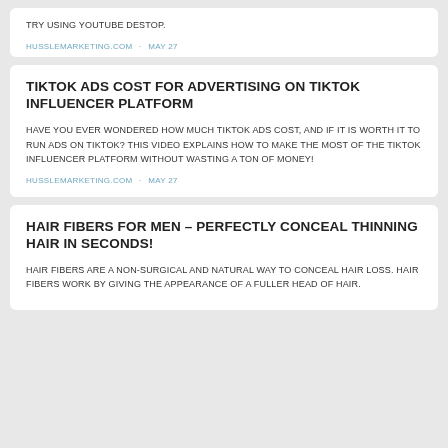TRY USING YOUTUBE DESTOP.
HUSSLEMARKETING.COM · MAY 27
TIKTOK ADS COST FOR ADVERTISING ON TIKTOK INFLUENCER PLATFORM
HAVE YOU EVER WONDERED HOW MUCH TIKTOK ADS COST, AND IF IT IS WORTH IT TO RUN ADS ON TIKTOK? THIS VIDEO EXPLAINS HOW TO MAKE THE MOST OF THE TIKTOK INFLUENCER PLATFORM WITHOUT WASTING A TON OF MONEY!
HUSSLEMARKETING.COM · MAY 27
HAIR FIBERS FOR MEN – PERFECTLY CONCEAL THINNING HAIR IN SECONDS!
HAIR FIBERS ARE A NON-SURGICAL AND NATURAL WAY TO CONCEAL HAIR LOSS. HAIR FIBERS WORK BY GIVING THE APPEARANCE OF A FULLER HEAD OF HAIR.